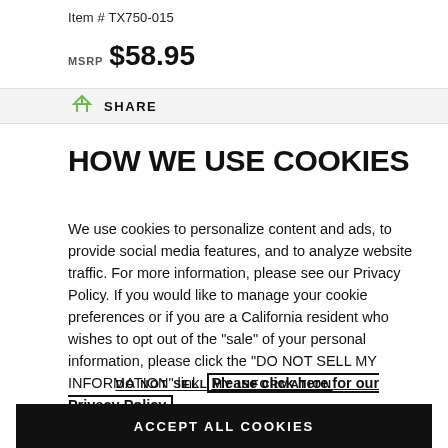Item # TX750-015
MSRP $58.95
SHARE
HOW WE USE COOKIES
We use cookies to personalize content and ads, to provide social media features, and to analyze website traffic. For more information, please see our Privacy Policy. If you would like to manage your cookie preferences or if you are a California resident who wishes to opt out of the "sale" of your personal information, please click the "DO NOT SELL MY INFORMATION" link. Please click here for our Privacy Policy.
DO NOT SELL MY INFORMATION
ACCEPT ALL COOKIES